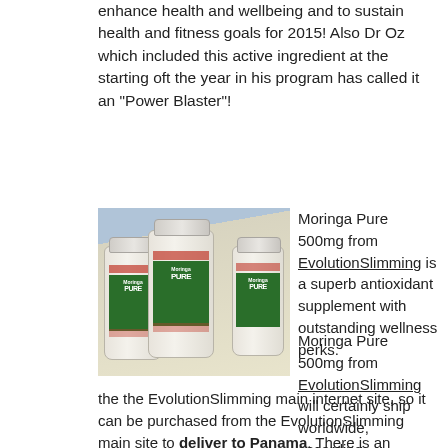enhance health and wellbeing and to sustain health and fitness goals for 2015! Also Dr Oz which included this active ingredient at the starting oft the year in his program has called it an "Power Blaster"!
[Figure (photo): Three bottles of Moringa Pure supplement with green and white labels, arranged in a triangular formation on a light surface with blue background.]
Moringa Pure 500mg from EvolutionSlimming is a superb antioxidant supplement with outstanding wellness perks.
Moringa Pure 500mg from EvolutionSlimming will certainly ship worldwide, according the the EvolutionSlimming main internet site, so it can be purchased from the EvolutionSlimming main site to deliver to Panama. There is an additional address